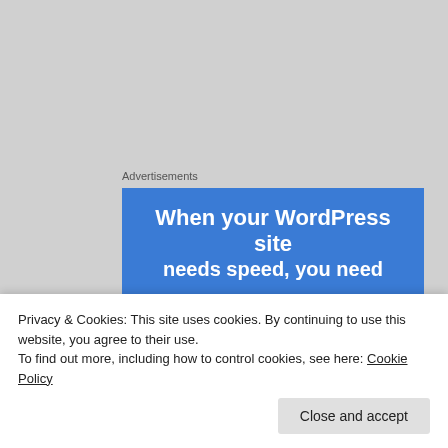[Figure (screenshot): Blue advertisement banner for WordPress hosting with white bold text: 'When your WordPress site needs speed, you need']
At this point, I should make something clear. I have no problem with accepting the reality of conspiracies – they're banal, messy, dirty and fundamentally obvious things – it's conspiracy theories I feel the intense need to ridicule. For they are just that – theories. Conspiracy theories are, generally, a
Privacy & Cookies: This site uses cookies. By continuing to use this website, you agree to their use.
To find out more, including how to control cookies, see here: Cookie Policy